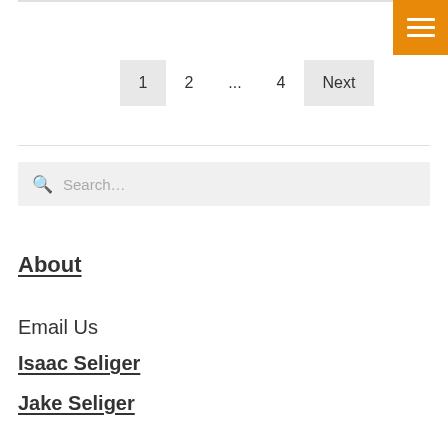[Figure (other): Orange hamburger menu button in top right corner with three white horizontal bars]
1  2  ...  4  Next
Search...
About
Email Us
Isaac Seliger
Jake Seliger